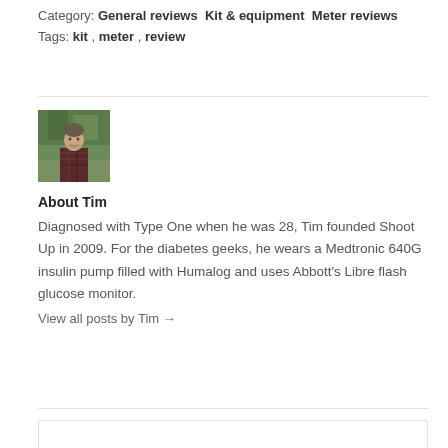Category: General reviews  Kit & equipment  Meter reviews
Tags: kit , meter , review
[Figure (photo): Author photo of Tim, a man standing outdoors with trees in the background, wearing a plaid shirt]
About Tim
Diagnosed with Type One when he was 28, Tim founded Shoot Up in 2009. For the diabetes geeks, he wears a Medtronic 640G insulin pump filled with Humalog and uses Abbott's Libre flash glucose monitor.
View all posts by Tim →